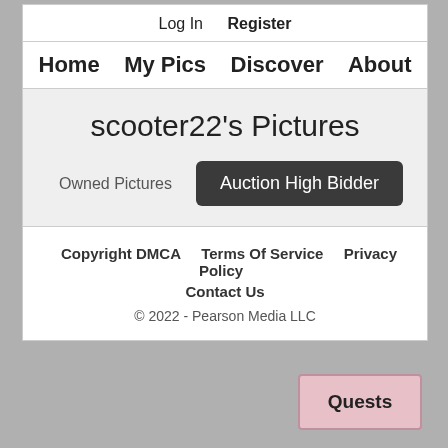Log In   Register
Home   My Pics   Discover   About
scooter22's Pictures
Owned Pictures   Auction High Bidder
Copyright DMCA   Terms Of Service   Privacy Policy   Contact Us   © 2022 - Pearson Media LLC
Quests